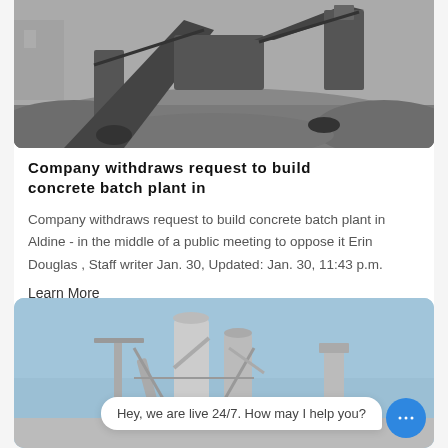[Figure (photo): Industrial stone crushing or concrete machinery with conveyor belts on a gravel site, overcast sky background.]
Company withdraws request to build concrete batch plant in
Company withdraws request to build concrete batch plant in Aldine - in the middle of a public meeting to oppose it Erin Douglas , Staff writer Jan. 30, Updated: Jan. 30, 11:43 p.m.
Learn More
[Figure (photo): Concrete batch plant / industrial facility with silos and cranes against a blue sky.]